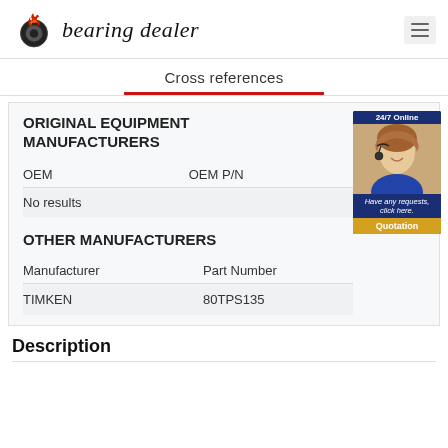bearing dealer
Cross references
ORIGINAL EQUIPMENT MANUFACTURERS
| OEM | OEM P/N |
| --- | --- |
| No results |  |
OTHER MANUFACTURERS
| Manufacturer | Part Number |
| --- | --- |
| TIMKEN | 80TPS135 |
[Figure (photo): Customer service representative with headset, 24/7 Online banner and Quotation button]
Description